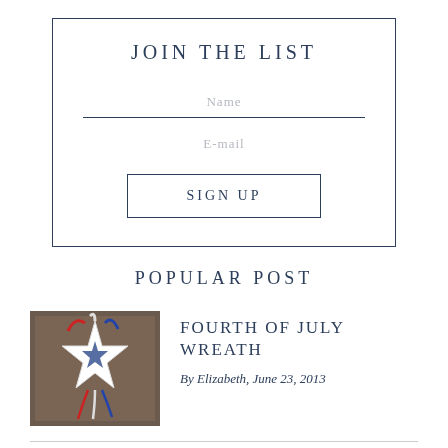JOIN THE LIST
Name
E-mail
SIGN UP
POPULAR POST
[Figure (photo): Thumbnail photo of a Fourth of July star wreath with red, white, and blue ribbons hanging on a door]
FOURTH OF JULY WREATH
By Elizabeth, June 23, 2013